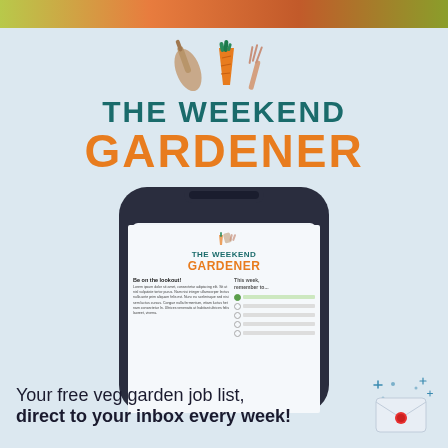[Figure (photo): Colorful photo strip at the top of the page showing garden/nature imagery]
[Figure (illustration): Garden tool icons: trowel, carrot, and fork/rake in illustrated style]
THE WEEKEND GARDENER
[Figure (screenshot): Smartphone mockup showing The Weekend Gardener newsletter with gardening checklist]
Your free veg garden job list, direct to your inbox every week!